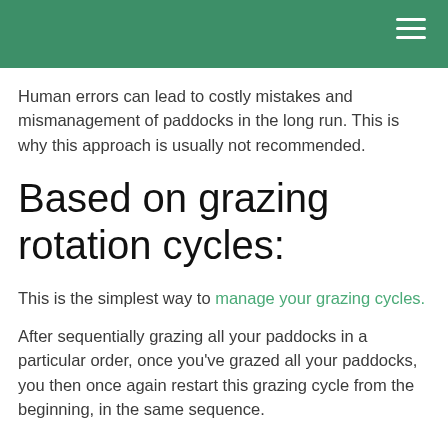Human errors can lead to costly mistakes and mismanagement of paddocks in the long run. This is why this approach is usually not recommended.
Based on grazing rotation cycles:
This is the simplest way to manage your grazing cycles.
After sequentially grazing all your paddocks in a particular order, once you've grazed all your paddocks, you then once again restart this grazing cycle from the beginning, in the same sequence.